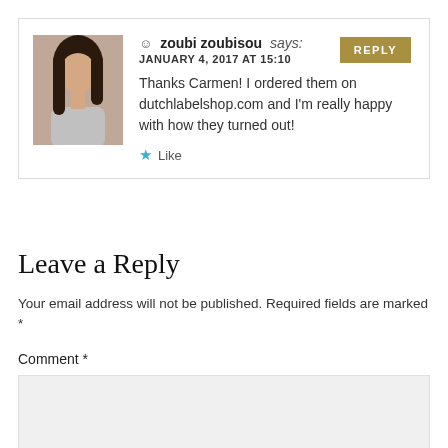REPLY
zoubi zoubisou says:
JANUARY 4, 2017 AT 15:10
Thanks Carmen! I ordered them on dutchlabelshop.com and I'm really happy with how they turned out!
Like
Leave a Reply
Your email address will not be published. Required fields are marked *
Comment *